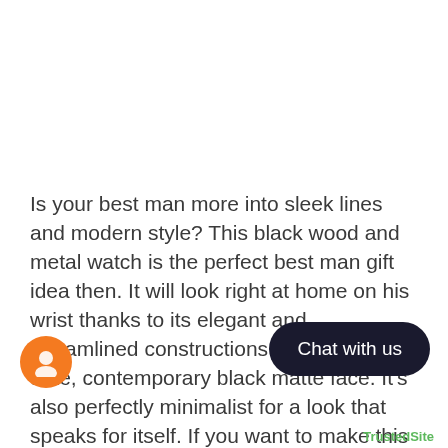Is your best man more into sleek lines and modern style? This black wood and metal watch is the perfect best man gift idea then. It will look right at home on his wrist thanks to its elegant and streamlined constructions and its up-to-date, contemporary black matte face. It's also perfectly minimalist for a look that speaks for itself. If you want to make this already great gift even more special, consider personalizing it with a subtle engraving! Whether you want to leave your best man with a small message, a picture, or even the date of your wedd... appreciate you going the extra mile fo...
[Figure (other): Dark rounded rectangle chat button overlay with white text 'Chat with us', and an orange circular chat avatar icon in the bottom left]
[Figure (logo): TrustedSite logo badge in bottom right corner]